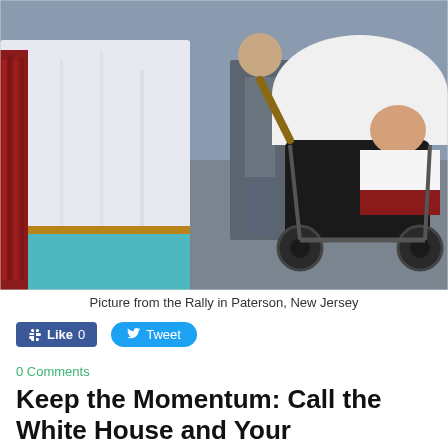[Figure (photo): Outdoor photo from a rally showing people standing on pavement. A person in a white shirt and teal pants is visible from behind on the left. A baby in a black/white stroller is visible on the right. Other people including someone in gray pants are in the background.]
Picture from the Rally in Paterson, New Jersey
Like 0   Tweet
0 Comments
Keep the Momentum: Call the White House and Your Representative – Ask them to Stop Military Assistance to Israel